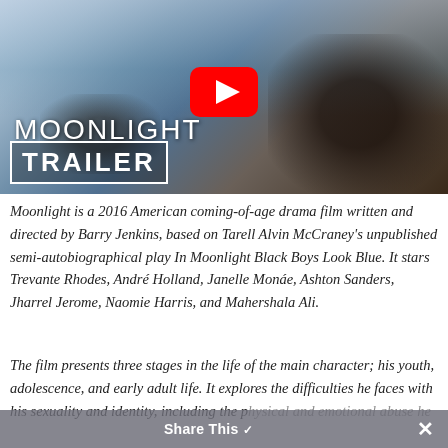[Figure (screenshot): YouTube video thumbnail for Moonlight Trailer, showing two figures in water, with YouTube play button icon, text 'MOONLIGHT' and 'TRAILER' in a white border box overlaid on a cinematic ocean scene.]
Moonlight is a 2016 American coming-of-age drama film written and directed by Barry Jenkins, based on Tarell Alvin McCraney's unpublished semi-autobiographical play In Moonlight Black Boys Look Blue. It stars Trevante Rhodes, André Holland, Janelle Monáe, Ashton Sanders, Jharrel Jerome, Naomie Harris, and Mahershala Ali.
The film presents three stages in the life of the main character; his youth, adolescence, and early adult life. It explores the difficulties he faces with his sexuality and identity, including the physical and emotional abuse he
Share This ✓ ✗